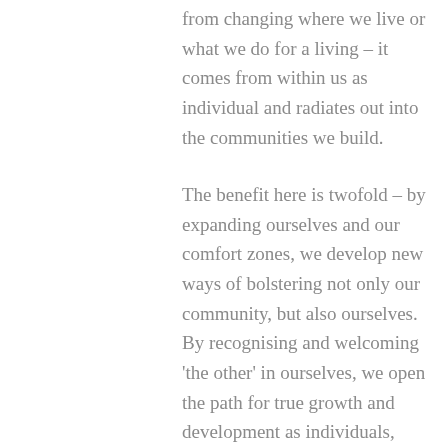from changing where we live or what we do for a living – it comes from within us as individual and radiates out into the communities we build.
The benefit here is twofold – by expanding ourselves and our comfort zones, we develop new ways of bolstering not only our community, but also ourselves.  By recognising and welcoming 'the other' in ourselves, we open the path for true growth and development as individuals, which in turn pours back into and strengthens our communities.
It takes courage to engage and stretch our selves in this way, and mistakes will be made along the way.  There will be doubt and fear.  How do we know that what we are doing is just?  How do we know that